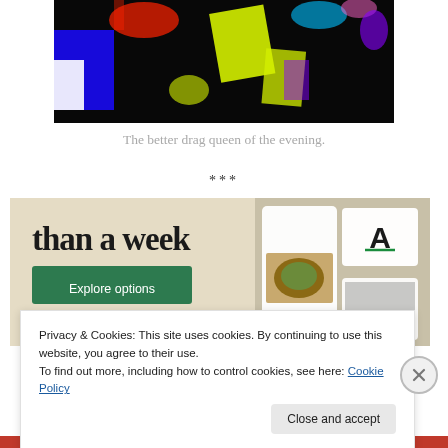[Figure (photo): Dark performance/nightlife photo with colorful neon lights (blue, yellow, red, white) against black background, showing what appears to be a drag queen performance.]
The better drag queen of the evening.
***
[Figure (screenshot): Advertisement banner with beige/cream background showing text 'than a week' in large bold serif font, a green 'Explore options' button, and mockup screenshots of a website/app interface showing food and lifestyle content, with a white card showing the letter A.]
Privacy & Cookies: This site uses cookies. By continuing to use this website, you agree to their use.
To find out more, including how to control cookies, see here: Cookie Policy